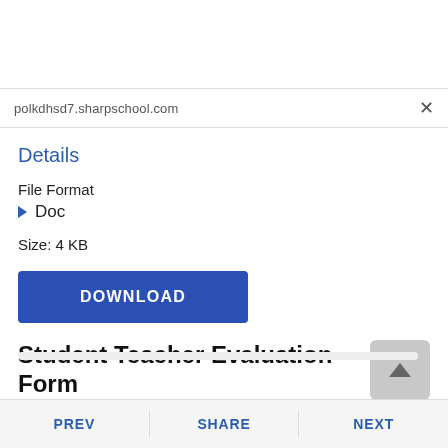polkdhsd7.sharpschool.com
Details
File Format
▶ Doc
Size: 4 KB
DOWNLOAD
Student Teacher Evaluation Form
PREV  SHARE  NEXT